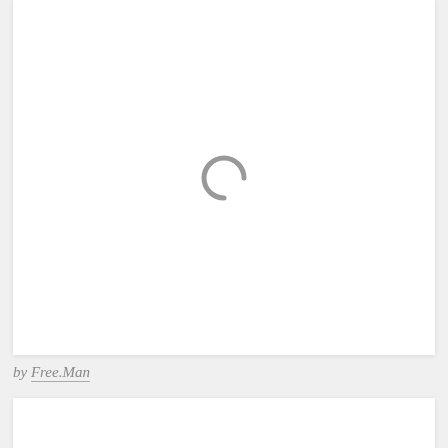[Figure (other): A white card/panel with a loading spinner arc (partial circle) centered on it, rendered in gray]
by Free.Man
[Figure (other): A second white card/panel, partially visible at the bottom of the page]